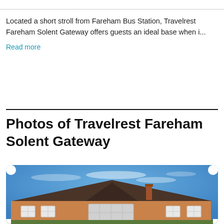Located a short stroll from Fareham Bus Station, Travelrest Fareham Solent Gateway offers guests an ideal base when i...
Read more
Photos of Travelrest Fareham Solent Gateway
[Figure (photo): Exterior photo of Travelrest Fareham Solent Gateway showing a brick bungalow-style building with white-framed bay windows and a tiled roof under a blue sky with light clouds.]